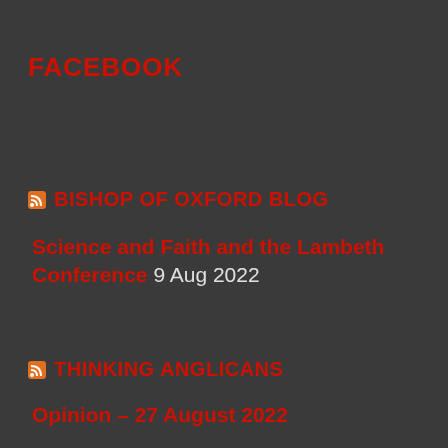FACEBOOK
BISHOP OF OXFORD BLOG
Science and Faith and the Lambeth Conference 9 Aug 2022
THINKING ANGLICANS
Opinion – 27 August 2022